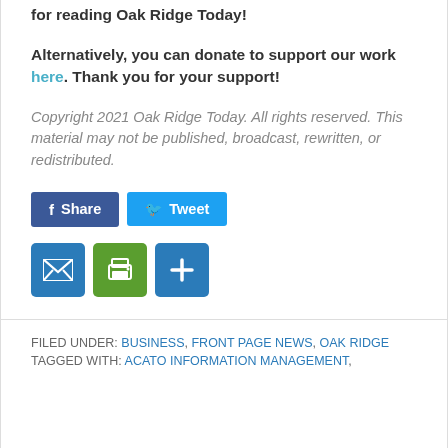for reading Oak Ridge Today!
Alternatively, you can donate to support our work here. Thank you for your support!
Copyright 2021 Oak Ridge Today. All rights reserved. This material may not be published, broadcast, rewritten, or redistributed.
[Figure (other): Social share buttons: Facebook Share button (blue) and Twitter Tweet button (blue)]
[Figure (other): Three icon buttons: email (blue envelope), print (green printer), and plus/share (blue plus sign)]
FILED UNDER: BUSINESS, FRONT PAGE NEWS, OAK RIDGE
TAGGED WITH: ACATO INFORMATION MANAGEMENT,